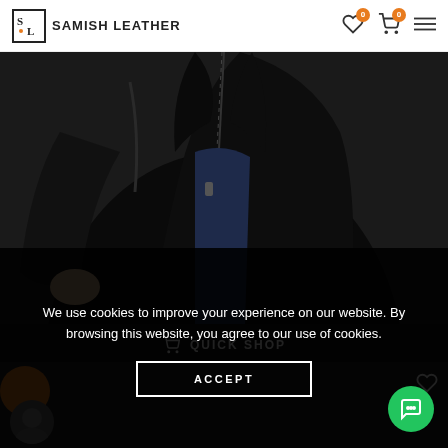SAMISH LEATHER
[Figure (photo): Torso shot of a person wearing a black leather jacket with zipper detail, against dark background]
QUICK SHOP
American Idol Judges Musician Keith Urban Leather Jacket
$250 $190
We use cookies to improve your experience on our website. By browsing this website, you agree to our use of cookies.
ACCEPT